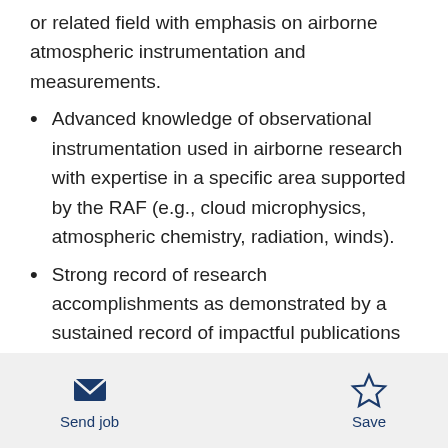or related field with emphasis on airborne atmospheric instrumentation and measurements.
Advanced knowledge of observational instrumentation used in airborne research with expertise in a specific area supported by the RAF (e.g., cloud microphysics, atmospheric chemistry, radiation, winds).
Strong record of research accomplishments as demonstrated by a sustained record of impactful publications in the peer-reviewed literature, presentations at scientific
Send job   Save